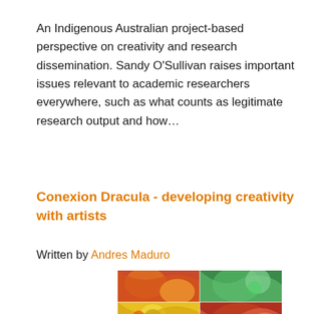An Indigenous Australian project-based perspective on creativity and research dissemination. Sandy O'Sullivan raises important issues relevant to academic researchers everywhere, such as what counts as legitimate research output and how…
Conexion Dracula - developing creativity with artists
Written by Andres Maduro
[Figure (photo): Colorful artistic illustration with vibrant abstract patterns, appearing to be a collage of artworks with swirling shapes, bright colors including greens, reds, oranges, and blues.]